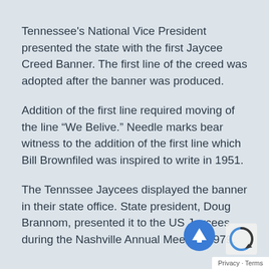Tennessee's National Vice President presented the state with the first Jaycee Creed Banner. The first line of the creed was adopted after the banner was produced.
Addition of the first line required moving of the line “We Belive.” Needle marks bear witness to the addition of the first line which Bill Brownfiled was inspired to write in 1951.
The Tennssee Jaycees displayed the banner in their state office. State president, Doug Brannom, presented it to the US Jaycees during the Nashville Annual Meeting 1979.
Privacy · Terms